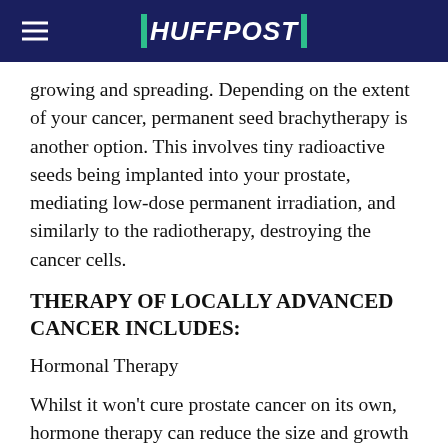HUFFPOST
growing and spreading. Depending on the extent of your cancer, permanent seed brachytherapy is another option. This involves tiny radioactive seeds being implanted into your prostate, mediating low-dose permanent irradiation, and similarly to the radiotherapy, destroying the cancer cells.
THERAPY OF LOCALLY ADVANCED CANCER INCLUDES:
Hormonal Therapy
Whilst it won't cure prostate cancer on its own, hormone therapy can reduce the size and growth of the cancer by removing testosterone as a 'food